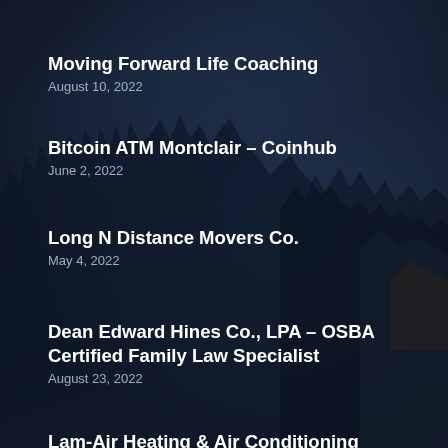Moving Forward Life Coaching
August 10, 2022
Bitcoin ATM Montclair – Coinhub
June 2, 2022
Long N Distance Movers Co.
May 4, 2022
Dean Edward Hines Co., LPA – OSBA Certified Family Law Specialist
August 23, 2022
Lam-Air Heating & Air Conditioning